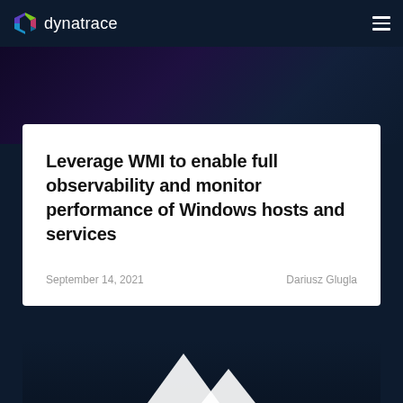dynatrace
Leverage WMI to enable full observability and monitor performance of Windows hosts and services
September 14, 2021
Dariusz Glugla
[Figure (illustration): Dark background with white mountain/triangle shapes at the bottom, partial view of a graphic below the article card]